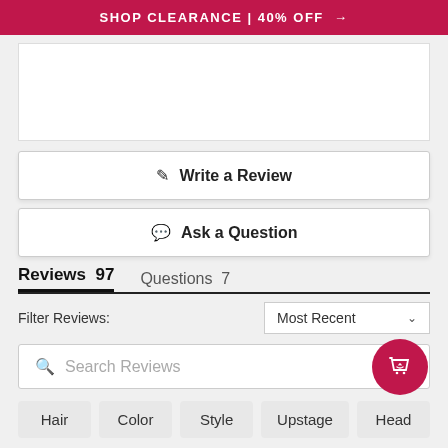SHOP CLEARANCE | 40% OFF →
[Figure (photo): White image placeholder area]
✎ Write a Review
💬 Ask a Question
Reviews 97    Questions 7
Filter Reviews:    Most Recent ∨
🔍 Search Reviews
Hair   Color   Style   Upstage   Head